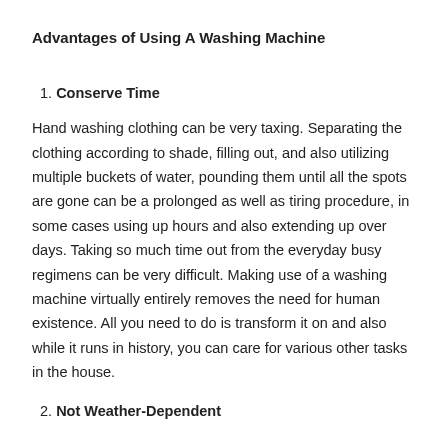Advantages of Using A Washing Machine
1. Conserve Time
Hand washing clothing can be very taxing. Separating the clothing according to shade, filling out, and also utilizing multiple buckets of water, pounding them until all the spots are gone can be a prolonged as well as tiring procedure, in some cases using up hours and also extending up over days. Taking so much time out from the everyday busy regimens can be very difficult. Making use of a washing machine virtually entirely removes the need for human existence. All you need to do is transform it on and also while it runs in history, you can care for various other tasks in the house.
2. Not Weather-Dependent